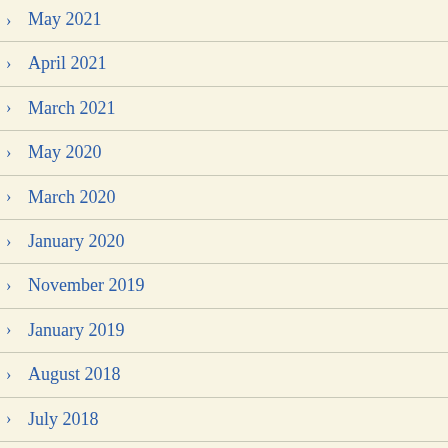May 2021
April 2021
March 2021
May 2020
March 2020
January 2020
November 2019
January 2019
August 2018
July 2018
May 2018